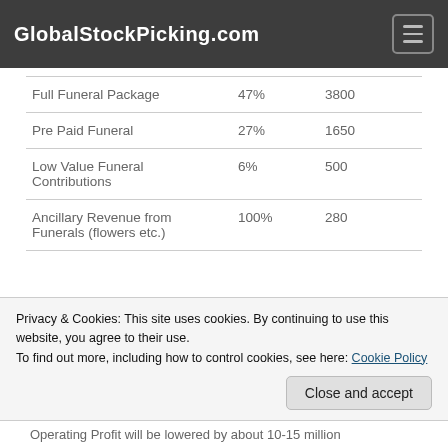GlobalStockPicking.com
| Full Funeral Package | 47% | 3800 |
| Pre Paid Funeral | 27% | 1650 |
| Low Value Funeral Contributions | 6% | 500 |
| Ancillary Revenue from Funerals (flowers etc.) | 100% | 280 |
Since costs will stay the same, this price reduction eats directly into the margins of every funeral type of
Privacy & Cookies: This site uses cookies. By continuing to use this website, you agree to their use.
To find out more, including how to control cookies, see here: Cookie Policy
Operating Profit will be lowered by about 10-15 million